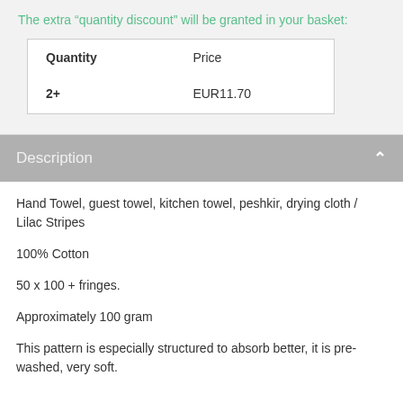The extra “quantity discount” will be granted in your basket:
| Quantity | Price |
| --- | --- |
| 2+ | EUR11.70 |
Description
Hand Towel, guest towel, kitchen towel, peshkir, drying cloth / Lilac Stripes
100% Cotton
50 x 100 + fringes.
Approximately 100 gram
This pattern is especially structured to absorb better, it is pre-washed, very soft.